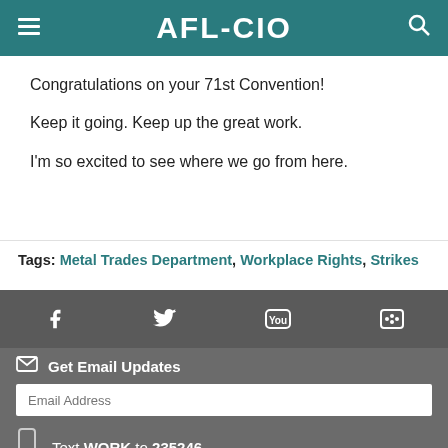AFL-CIO
Congratulations on your 71st Convention!
Keep it going. Keep up the great work.
I'm so excited to see where we go from here.
Tags: Metal Trades Department, Workplace Rights, Strikes
[Figure (other): Social media icons bar: Facebook, Twitter, YouTube, Flickr on dark gray background]
Get Email Updates
Email Address input field, ZIP input field, SIGN UP button
Text WORK to 235246